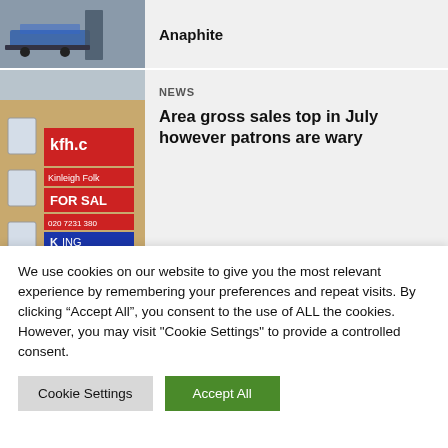[Figure (photo): Partial view of a card with a blue/grey industrial image at top, partially cropped]
Anaphite
[Figure (photo): Real estate photograph showing a brick building with kfh estate agent FOR SALE signs including 'kfh.c', 'Kinleigh Folk', 'FOR SAL', '020 7231 380', 'KING', 'FOR SAL']
NEWS
Area gross sales top in July however patrons are wary
Archives
We use cookies on our website to give you the most relevant experience by remembering your preferences and repeat visits. By clicking “Accept All”, you consent to the use of ALL the cookies. However, you may visit "Cookie Settings" to provide a controlled consent.